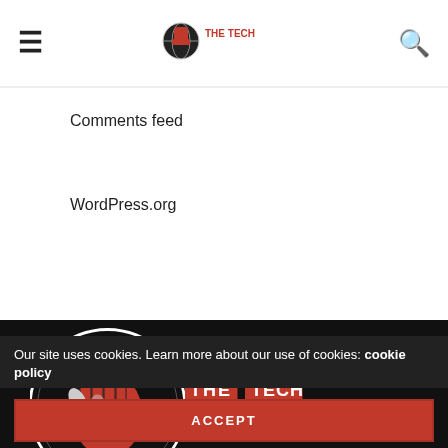The Tech Revolutionist - header navigation with hamburger menu, logo, and search icon
Comments feed
WordPress.org
[Figure (logo): The Tech Revolutionist logo: circular icon with red fist and globe, text THE TECH REVOLUTIONIST in red and white block letters on dark background]
"By Tech Enthusiasts, For Tech Enthusiasts".
Our site uses cookies. Learn more about our use of cookies: cookie policy
ACCEPT